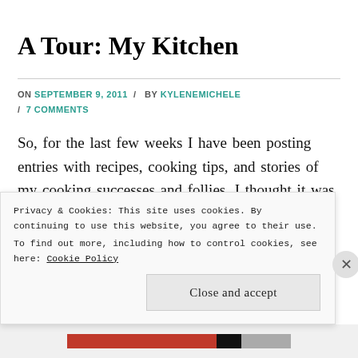A Tour: My Kitchen
ON SEPTEMBER 9, 2011 / BY KYLENEMICHELE / 7 COMMENTS
So, for the last few weeks I have been posting entries with recipes, cooking tips, and stories of my cooking successes and follies. I thought it was about time to give you a tour of The Kitchen
Privacy & Cookies: This site uses cookies. By continuing to use this website, you agree to their use.
To find out more, including how to control cookies, see here: Cookie Policy
Close and accept